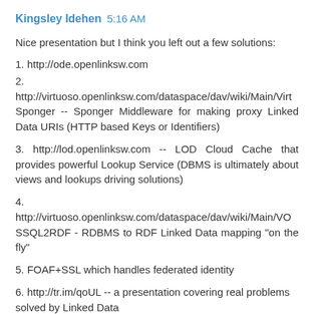Kingsley Idehen  5:16 AM
Nice presentation but I think you left out a few solutions:
1. http://ode.openlinksw.com
2. http://virtuoso.openlinksw.com/dataspace/dav/wiki/Main/VirtSponger -- Sponger Middleware for making proxy Linked Data URIs (HTTP based Keys or Identifiers)
3. http://lod.openlinksw.com -- LOD Cloud Cache that provides powerful Lookup Service (DBMS is ultimately about views and lookups driving solutions)
4. http://virtuoso.openlinksw.com/dataspace/dav/wiki/Main/VOSSQL2RDF - RDBMS to RDF Linked Data mapping "on the fly"
5. FOAF+SSL which handles federated identity
6. http://tr.im/qoUL -- a presentation covering real problems solved by Linked Data